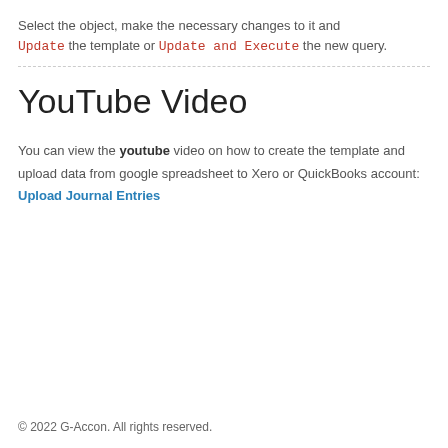Select the object, make the necessary changes to it and Update the template or Update and Execute the new query.
YouTube Video
You can view the youtube video on how to create the template and upload data from google spreadsheet to Xero or QuickBooks account: Upload Journal Entries
© 2022 G-Accon. All rights reserved.